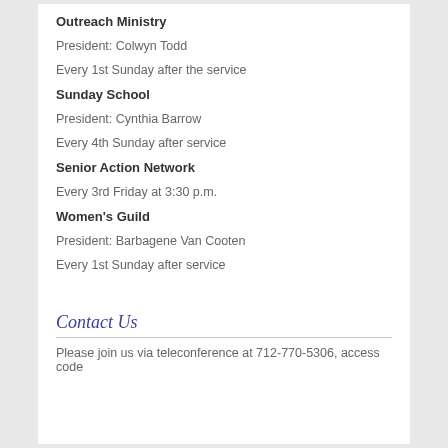Outreach Ministry
President: Colwyn Todd
Every 1st Sunday after the service
Sunday School
President: Cynthia Barrow
Every 4th Sunday after service
Senior Action Network
Every 3rd Friday at 3:30 p.m.
Women's Guild
President: Barbagene Van Cooten
Every 1st Sunday after service
Contact Us
Please join us via teleconference at 712-770-5306, access code